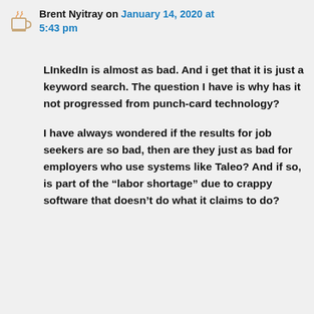Brent Nyitray on January 14, 2020 at 5:43 pm
LInkedIn is almost as bad. And i get that it is just a keyword search. The question I have is why has it not progressed from punch-card technology?
I have always wondered if the results for job seekers are so bad, then are they just as bad for employers who use systems like Taleo? And if so, is part of the “labor shortage” due to crappy software that doesn’t do what it claims to do?